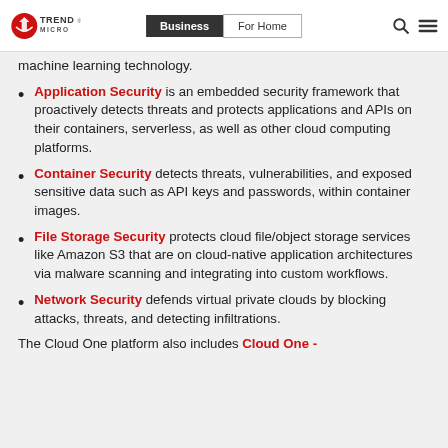Trend Micro | Business | For Home
machine learning technology.
Application Security is an embedded security framework that proactively detects threats and protects applications and APIs on their containers, serverless, as well as other cloud computing platforms.
Container Security detects threats, vulnerabilities, and exposed sensitive data such as API keys and passwords, within container images.
File Storage Security protects cloud file/object storage services like Amazon S3 that are on cloud-native application architectures via malware scanning and integrating into custom workflows.
Network Security defends virtual private clouds by blocking attacks, threats, and detecting infiltrations.
The Cloud One platform also includes Cloud One -